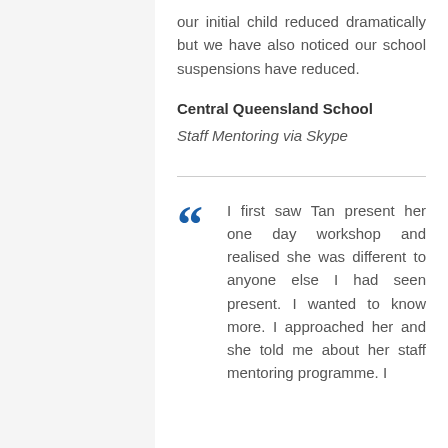our initial child reduced dramatically but we have also noticed our school suspensions have reduced.
Central Queensland School
Staff Mentoring via Skype
I first saw Tan present her one day workshop and realised she was different to anyone else I had seen present. I wanted to know more. I approached her and she told me about her staff mentoring programme. I